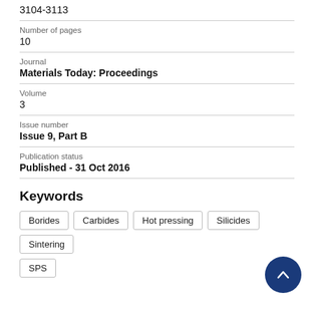3104-3113
Number of pages
10
Journal
Materials Today: Proceedings
Volume
3
Issue number
Issue 9, Part B
Publication status
Published - 31 Oct 2016
Keywords
Borides
Carbides
Hot pressing
Silicides
Sintering
SPS